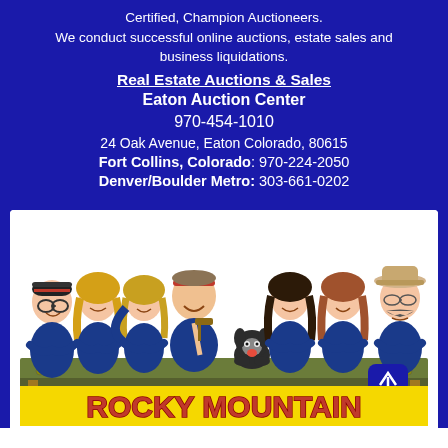Certified, Champion Auctioneers. We conduct successful online auctions, estate sales and business liquidations.
Real Estate Auctions & Sales
Eaton Auction Center
970-454-1010
24 Oak Avenue, Eaton Colorado, 80615
Fort Collins, Colorado: 970-224-2050
Denver/Boulder Metro: 303-661-0202
[Figure (illustration): Cartoon caricature illustration of 7 team members and a dog standing behind a counter/table, all wearing blue shirts. One person holds an auctioneer's gavel. Below the counter is a yellow banner with 'ROCKY MOUNTAIN' text in red letters.]